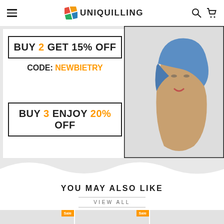UNIQUILLING navigation header with hamburger menu, logo, search and cart icons
[Figure (infographic): Promotional banner: BUY 2 GET 15% OFF CODE: NEWBIETRY and BUY 3 ENJOY 20% OFF, alongside an illustration of a woman with a blue headscarf]
YOU MAY ALSO LIKE
VIEW ALL
[Figure (photo): Product thumbnails with Sale badges - three quilling art product cards partially visible]